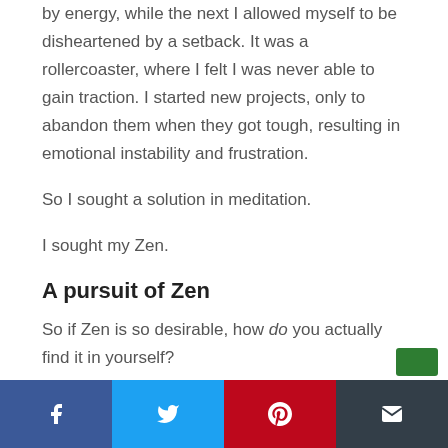by energy, while the next I allowed myself to be disheartened by a setback. It was a rollercoaster, where I felt I was never able to gain traction. I started new projects, only to abandon them when they got tough, resulting in emotional instability and frustration.
So I sought a solution in meditation.
I sought my Zen.
A pursuit of Zen
So if Zen is so desirable, how do you actually find it in yourself?